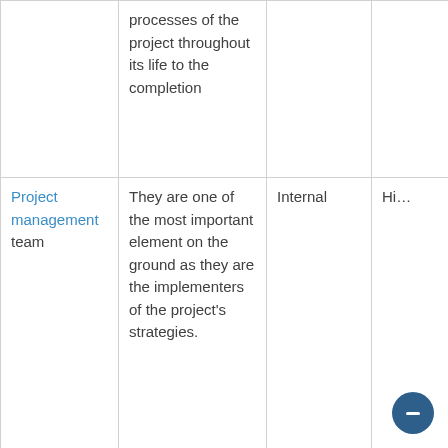|  |  |  |  |
| --- | --- | --- | --- |
|  | processes of the project throughout its life to the completion |  |  |
| Project management team | They are one of the most important element on the ground as they are the implementers of the project's strategies. | Internal | Hi… |